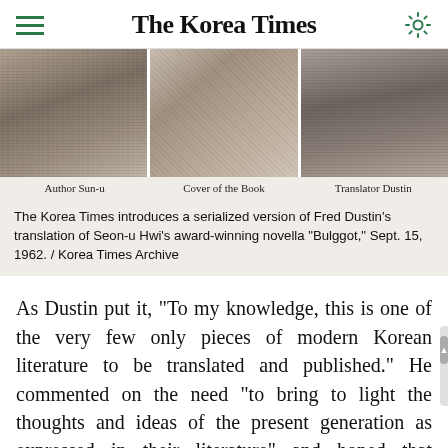The Korea Times
[Figure (photo): Three newspaper photo panels side by side: Author Sun-u (left), Cover of the Book (center), Translator Dustin (right). Black and white archival newspaper photographs.]
The Korea Times introduces a serialized version of Fred Dustin's translation of Seon-u Hwi's award-winning novella "Bulggot," Sept. 15, 1962. / Korea Times Archive
As Dustin put it, "To my knowledge, this is one of the very few only pieces of modern Korean literature to be translated and published." He commented on the need "to bring to light the thoughts and ideas of the present generation as expressed in their literature" and hoped that "recognition of the rather grave situation now presented by the lack of translations will be dealt with."